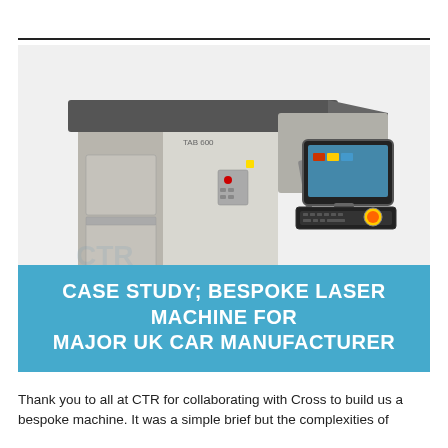[Figure (photo): Industrial laser machine with a large white/grey cabinet body, control panel with keyboard, monitor on an articulated arm, and a dark top cover. The machine appears to be a bespoke laser system for automotive manufacturing.]
CASE STUDY; BESPOKE LASER MACHINE FOR MAJOR UK CAR MANUFACTURER
Thank you to all at CTR for collaborating with Cross to build us a bespoke machine. It was a simple brief but the complexities of